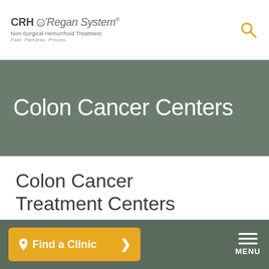CRH O'Regan System® Non-Surgical Hemorrhoid Treatment Fast. Painless. Proven.
Colon Cancer Centers
Colon Cancer Treatment Centers
Colon cancer centers have much to offer the general public and are
Find a Clinic  MENU